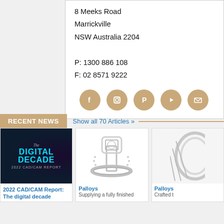8 Meeks Road
Marrickville
NSW Australia 2204

P: 1300 886 108
F: 02 8571 9222
[Figure (infographic): Five social media icons (Facebook, Instagram, Pinterest, YouTube, Email) as gold/tan circles with white icons]
RECENT NEWS
Show all 70 Articles »
[Figure (photo): Dark blue promotional image with text: The Digital Decade 2022 CAD/CAM REPORT]
2022 CAD/CAM Report: The digital decade
[Figure (photo): White gold diamond ring with halo setting on white background - Palloys product]
Palloys
Supplying a fully finished
[Figure (photo): Partial view of a jewelry piece - Palloys product]
Palloys
Crafted t